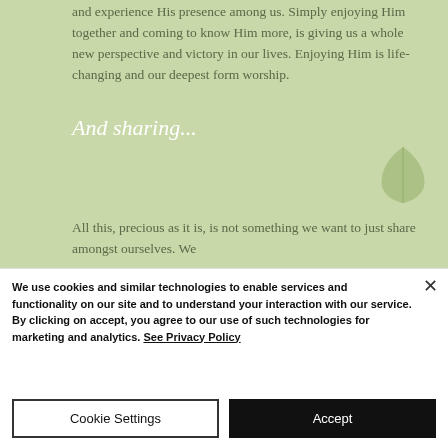and experience His presence among us. Simply enjoying Him together and coming to know Him more, is giving us a whole new perspective and victory in our lives. Enjoying Him is life-changing and our deepest form worship.
And sharing...
All this, precious as it is, is not something we want to just share amongst ourselves. We
We use cookies and similar technologies to enable services and functionality on our site and to understand your interaction with our service. By clicking on accept, you agree to our use of such technologies for marketing and analytics. See Privacy Policy